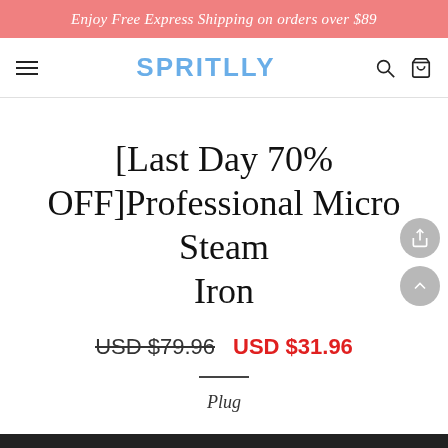Enjoy Free Express Shipping on orders over $89
[Figure (logo): SPRITLLY brand logo in blue with hamburger menu, search and cart icons in navigation bar]
[Last Day 70% OFF]Professional Micro Steam Iron
USD $79.96  USD $31.96
Plug